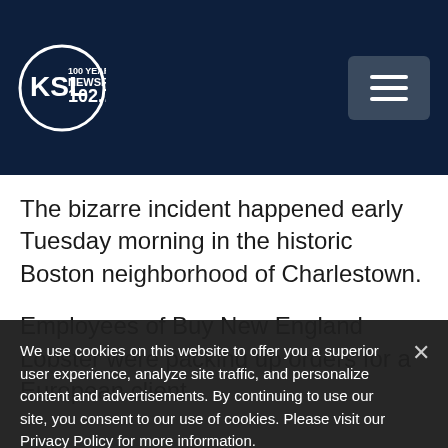KSL NewsRadio 102.7FM
The bizarre incident happened early Tuesday morning in the historic Boston neighborhood of Charlestown.
Employees of Buy New England Lobster were packing up orders for a European client
We use cookies on this website to offer you a superior user experience, analyze site traffic, and personalize content and advertisements. By continuing to use our site, you consent to our use of cookies. Please visit our Privacy Policy for more information.
Accept Cookies